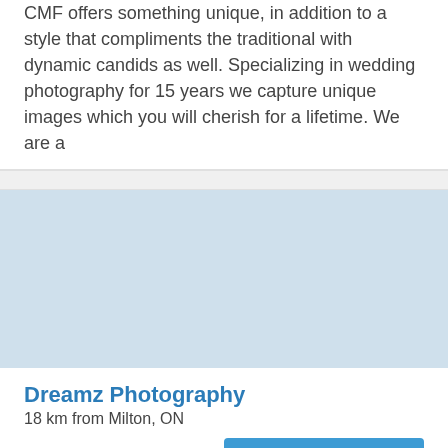CMF offers something unique, in addition to a style that compliments the traditional with dynamic candids as well. Specializing in wedding photography for 15 years we capture unique images which you will cherish for a lifetime. We are a
[Figure (photo): Light blue rectangular placeholder image area]
Dreamz Photography
18 km from Milton, ON
Request Pricing
Photo+Video Studio We believe in capturing candid moments